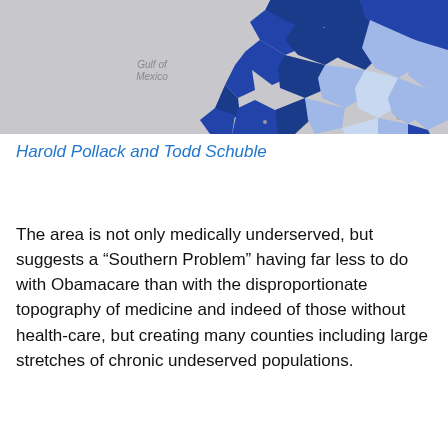[Figure (map): Partial map of the southeastern United States and Florida, with counties shaded in dark blue and light blue indicating medically underserved or uninsured populations. Text labels: 'Gulf of Mexico' and 'CUBA' visible on the map background.]
Harold Pollack and Todd Schuble
The area is not only medically underserved, but suggests a “Southern Problem” having far less to do with Obamacare than with the disproportionate topography of medicine and indeed of those without health-care, but creating many counties including large stretches of chronic undeserved populations.